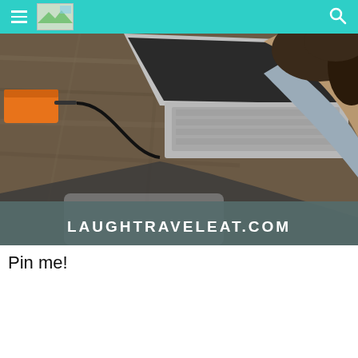laughtraveleat.com — navigation bar with hamburger menu, logo, and search icon
[Figure (photo): Overhead view of a woman with dark curly hair working on a silver laptop at a wooden desk. An orange external hard drive is visible to the left. The bottom portion of the image has a dark teal/grey overlay banner with the text LAUGHTRAVELEAT.COM in white uppercase letters.]
Pin me!